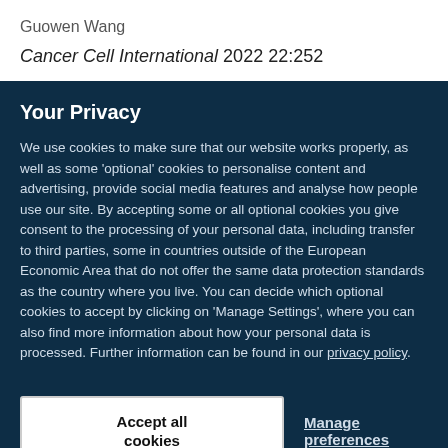Guowen Wang
Cancer Cell International 2022 22:252
Your Privacy
We use cookies to make sure that our website works properly, as well as some ‘optional’ cookies to personalise content and advertising, provide social media features and analyse how people use our site. By accepting some or all optional cookies you give consent to the processing of your personal data, including transfer to third parties, some in countries outside of the European Economic Area that do not offer the same data protection standards as the country where you live. You can decide which optional cookies to accept by clicking on ‘Manage Settings’, where you can also find more information about how your personal data is processed. Further information can be found in our privacy policy.
Accept all cookies
Manage preferences